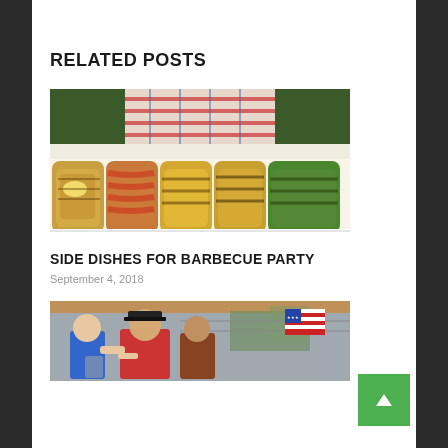RELATED POSTS
[Figure (photo): Food photo showing grilled/barbecued corn and bacon-wrapped items on a white platter, with a person wearing a plaid shirt in the upper portion]
SIDE DISHES FOR BARBECUE PARTY
September 4, 2018
[Figure (photo): Outdoor barbecue event photo showing people gathered under a tent with an American flag visible]